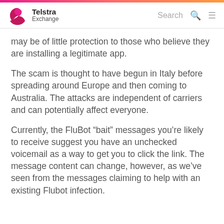Telstra Exchange | Search
may be of little protection to those who believe they are installing a legitimate app.
The scam is thought to have begun in Italy before spreading around Europe and then coming to Australia. The attacks are independent of carriers and can potentially affect everyone.
Currently, the FluBot “bait” messages you’re likely to receive suggest you have an unchecked voicemail as a way to get you to click the link. The message content can change, however, as we’ve seen from the messages claiming to help with an existing Flubot infection.